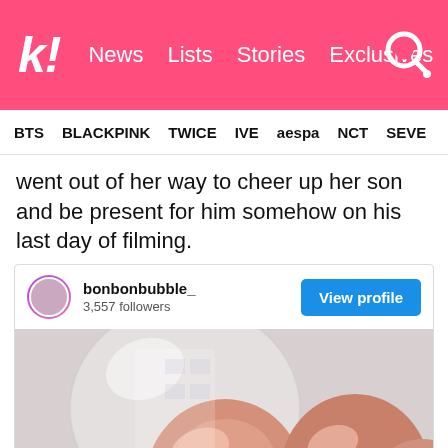k! News  Lists  Stories  Exclusives
BTS  BLACKPINK  TWICE  IVE  aespa  NCT  SEVE
went out of her way to cheer up her son and be present for him somehow on his last day of filming.
[Figure (screenshot): Instagram embed showing account bonbonbubble_ with 3,557 followers and a View profile button, below which is a photo of rose gold balloons with Korean text reading 고생했다, 아들아!]